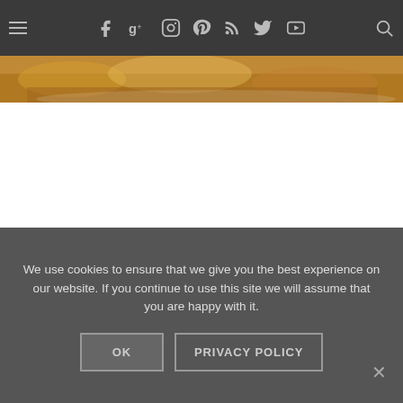≡  f  g+  ◎  ℗  RSS  🐦  YouTube  🔍
[Figure (photo): Partial view of a food dish, appearing to show potatoes or similar food items on a plate, cropped at top]
We use cookies to ensure that we give you the best experience on our website. If you continue to use this site we will assume that you are happy with it.
OK   PRIVACY POLICY